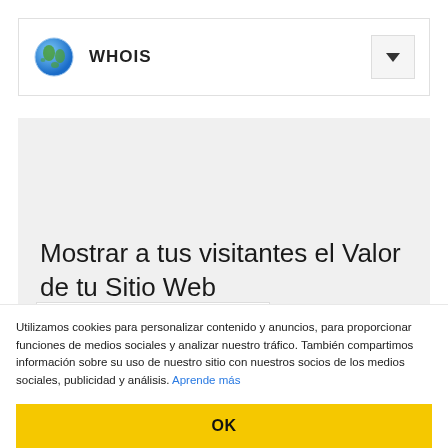WHOIS
Mostrar a tus visitantes el Valor de tu Sitio Web
8b.io
Utilizamos cookies para personalizar contenido y anuncios, para proporcionar funciones de medios sociales y analizar nuestro tráfico. También compartimos información sobre su uso de nuestro sitio con nuestros socios de los medios sociales, publicidad y análisis. Aprende más
OK